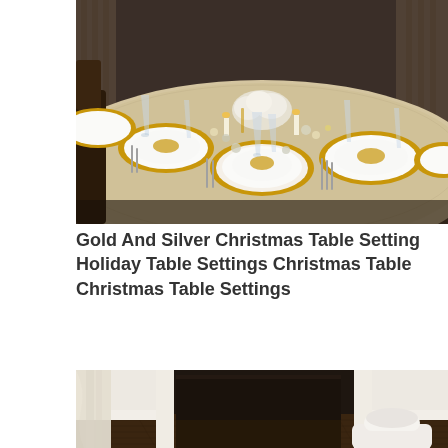[Figure (photo): A formal holiday dining table set with gold charger plates, white china with gold poinsettia design, crystal glassware, gold and silver decorations, white floral centerpiece, and candles on an ornate cream and silver tablecloth, in a dark-paneled room.]
Gold And Silver Christmas Table Setting Holiday Table Settings Christmas Table Christmas Table Settings
[Figure (photo): A room interior showing dark hardwood floors, white walls with white baseboards, white curtain drapes on the left, a white ornate French-style chair partially visible at bottom right, and a dark doorway opening in the back wall.]